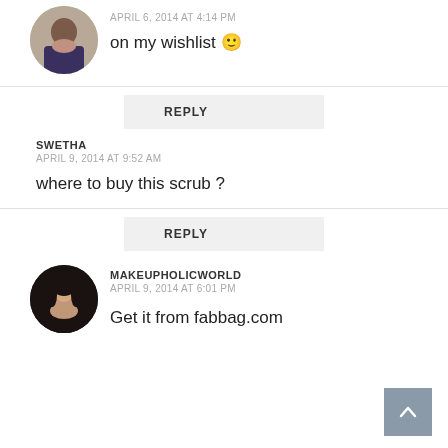[Figure (photo): Circular avatar photo of a person in a patterned top]
APRIL 6, 2014 AT 4:14 PM
on my wishlist 🙂
REPLY
SWETHA
APRIL 9, 2014 AT 9:52 AM
where to buy this scrub ?
REPLY
[Figure (photo): Circular avatar photo of a person with dark hair and jewelry]
MAKEUPHOLICWORLD
APRIL 9, 2014 AT 6:01 PM
Get it from fabbag.com